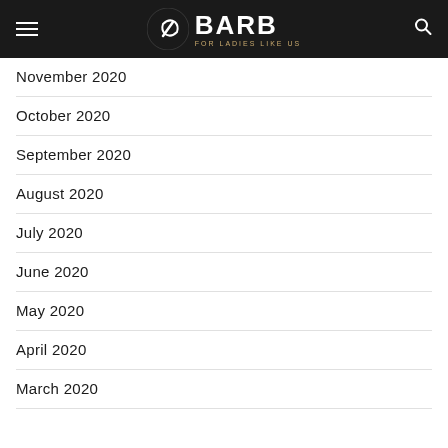BARB FOR LADIES LIKE US
November 2020
October 2020
September 2020
August 2020
July 2020
June 2020
May 2020
April 2020
March 2020